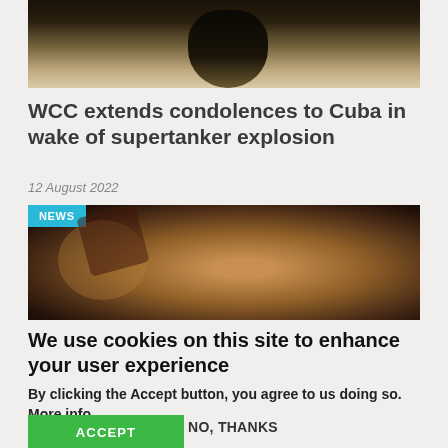[Figure (photo): Partial photo of a dark-colored animal or bird against a blurred background, cropped at top]
WCC extends condolences to Cuba in wake of supertanker explosion
12 August 2022
[Figure (photo): Close-up photo of a person wearing a black cap with red cross symbols, NEWS badge overlay in top-left corner]
We use cookies on this site to enhance your user experience
By clicking the Accept button, you agree to us doing so. More info
ACCEPT
NO, THANKS